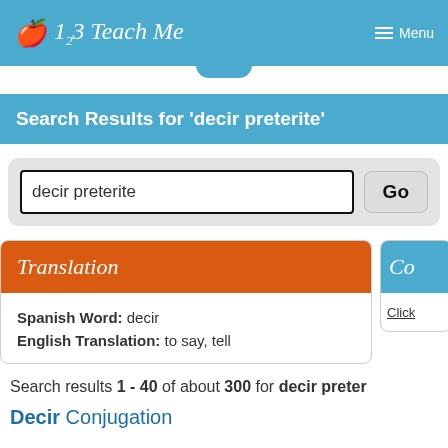123 Teach Me — Menu
Search Results for 'decir preterite'
decir preterite  Go
Translation
Spanish Word: decir
English Translation: to say, tell
Search results 1 - 40 of about 300 for decir preter
Decir Conjugation